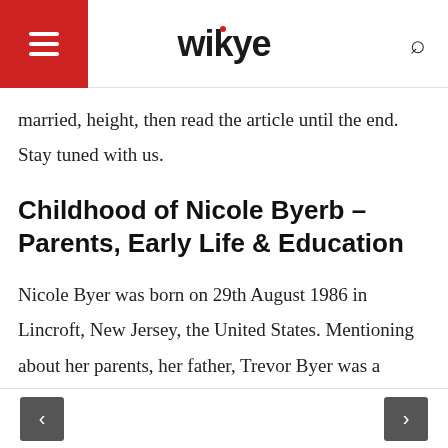wikye
married, height, then read the article until the end. Stay tuned with us.
Childhood of Nicole Byerb – Parents, Early Life & Education
Nicole Byer was born on 29th August 1986 in Lincroft, New Jersey, the United States. Mentioning about her parents, her father, Trevor Byer was a scientist for